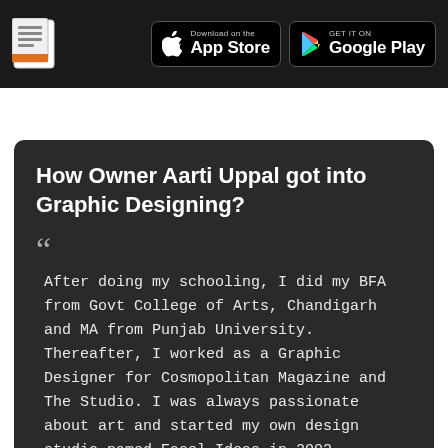Download on the App Store | GET IT ON Google Play
How Owner Aarti Uppal got into Graphic Designing?
After doing my schooling, I did my BFA from Govt College of Arts, Chandigarh and MA from Punjab University. Thereafter, I worked as a Graphic Designer for Cosmopolitan Magazine and The Studio. I was always passionate about art and started my own design studio named Easel Ideas in 2002.